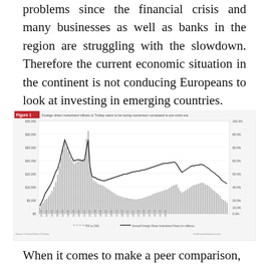problems since the financial crisis and many businesses as well as banks in the region are struggling with the slowdown. Therefore the current economic situation in the continent is not conducing Europeans to look at investing in emerging countries.
[Figure (continuous-plot): Combined bar and line chart showing FDI to GDP (bars) and Annual Foreign Direct Investment Flows in millions (line) over quarterly periods. Y-axis left shows values from $0 to $35,000, Y-axis right shows percentages from 0.0% to 100.0%. Source: Central Bank of Turkey / turkishmarketinsoors.com]
When it comes to make a peer comparison,